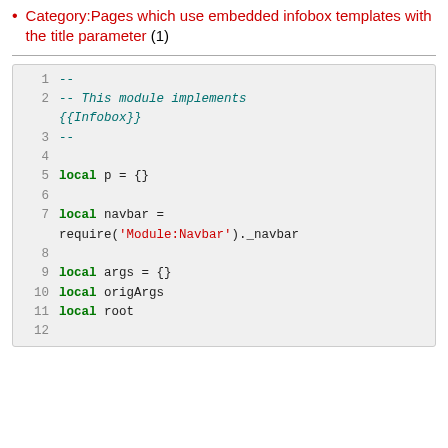Category:Pages which use embedded infobox templates with the title parameter (1)
[Figure (screenshot): Code block showing Lua source code lines 1-12. Line 1: --, Line 2: -- This module implements {{Infobox}}, Line 3: --, Line 4: (blank), Line 5: local p = {}, Line 6: (blank), Line 7: local navbar = require('Module:Navbar')._navbar, Line 8: (blank), Line 9: local args = {}, Line 10: local origArgs, Line 11: local root, Line 12: (blank)]